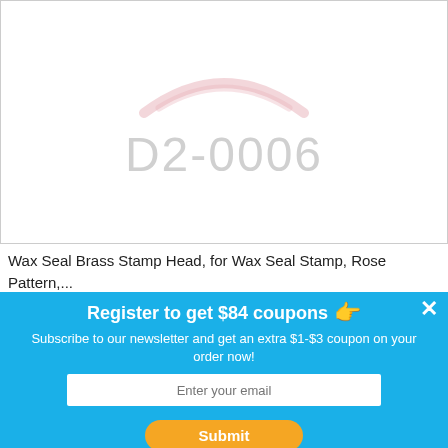[Figure (photo): Product watermark image showing a faint stamp logo at top and large light gray text 'D2-0006' in the center, inside a bordered box.]
Wax Seal Brass Stamp Head, for Wax Seal Stamp, Rose Pattern,... (AJEW-WH0205-021)
Unit:1 pc
Stock Available: 1 unit
| Current Discount
0 - 4 | 5 - 9 | 10 - 14 | 15+ |
| --- | --- | --- | --- |
| US $
10.23 | US $
9.72 | US $
9.21 | US $
8.18 |
Register to get $84 coupons
Subscribe to our newsletter and get an extra $1-$3 coupon on your order now!
Enter your email
Submit